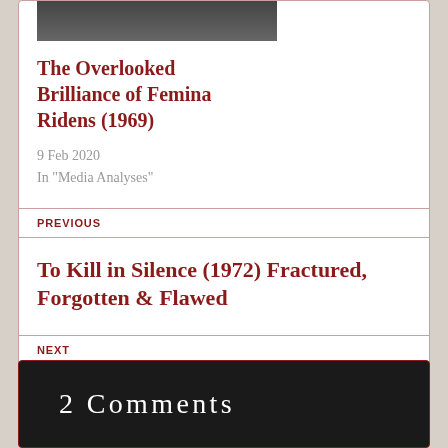[Figure (photo): Partial view of a person, dark toned photo]
The Overlooked Brilliance of Femina Ridens (1969)
9 Feb 2020
In "Media Analyses"
PREVIOUS
To Kill in Silence (1972) Fractured, Forgotten & Flawed
NEXT
Directory of Speech & Debate Analyses
2 Comments